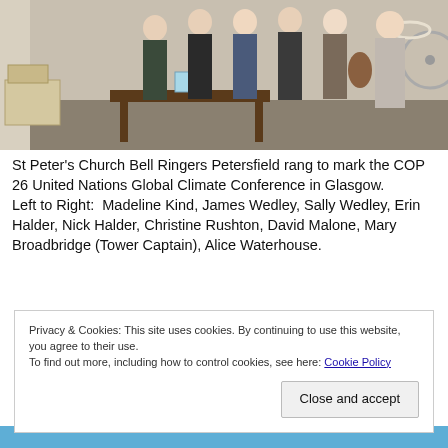[Figure (photo): Group photo of St Peter's Church Bell Ringers standing indoors in a room with boxes, a table, and a fan in the background.]
St Peter's Church Bell Ringers Petersfield rang to mark the COP 26 United Nations Global Climate Conference in Glasgow.
Left to Right:  Madeline Kind, James Wedley, Sally Wedley, Erin Halder, Nick Halder, Christine Rushton, David Malone, Mary Broadbridge (Tower Captain), Alice Waterhouse.
Privacy & Cookies: This site uses cookies. By continuing to use this website, you agree to their use.
To find out more, including how to control cookies, see here: Cookie Policy
Close and accept